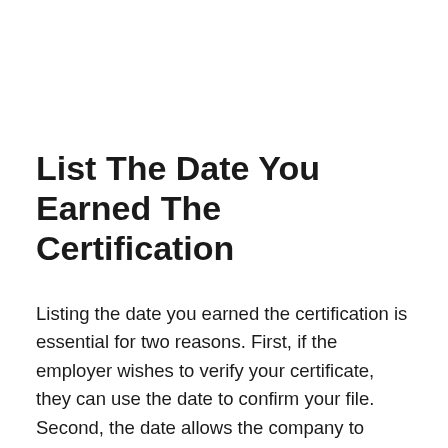List The Date You Earned The Certification
Listing the date you earned the certification is essential for two reasons. First, if the employer wishes to verify your certificate, they can use the date to confirm your file. Second, the date allows the company to know how long it’s been since you completed the certification process to earn recognition. If your certification requires renewal, also list the date you most recently renewed it. For example, a first aid and CPR certificate is only valid for a certain number of